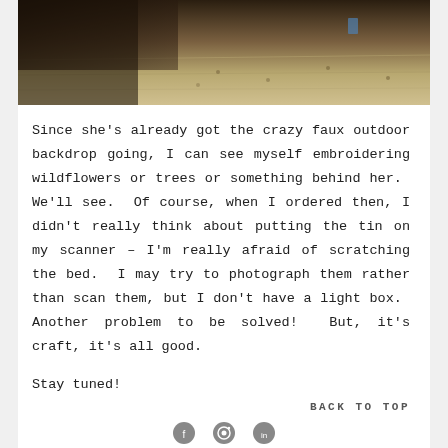[Figure (photo): Partial photo of a dark object on a light wooden or textured surface, cropped at top of page]
Since she's already got the crazy faux outdoor backdrop going, I can see myself embroidering wildflowers or trees or something behind her.  We'll see.  Of course, when I ordered then, I didn't really think about putting the tin on my scanner – I'm really afraid of scratching the bed.  I may try to photograph them rather than scan them, but I don't have a light box.  Another problem to be solved!  But, it's craft, it's all good.
Stay tuned!
BACK TO TOP
[Figure (illustration): Small social media or navigation icons at the bottom of the page]